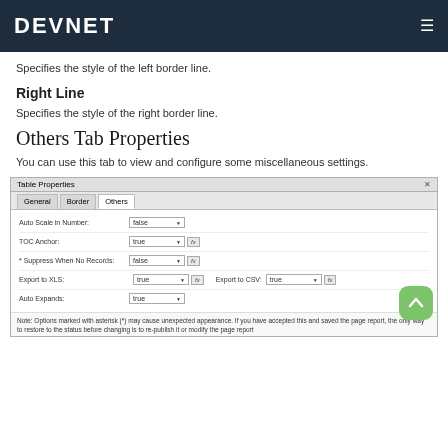DEVNET
Specifies the style of the left border line.
Right Line
Specifies the style of the right border line.
Others Tab Properties
You can use this tab to view and configure some miscellaneous settings.
[Figure (screenshot): Table Properties dialog box showing the Others tab with fields: Auto Scale in Number (false), TOC Anchor (true), * Suppress When No Records (false), Export to XLS (true), Export to CSV (true), Auto Expands (true), and a note about asterisk-marked options.]